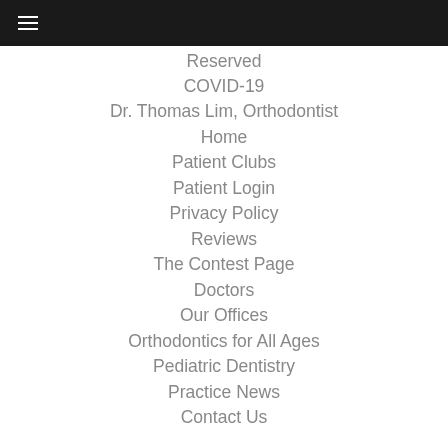≡
Reserved
COVID-19
Dr. Thomas Lim, Orthodontist
Home
Patient Clubs
Patient Login
Privacy Policy
Reviews
The Contest Page
Doctors
Our Offices
Orthodontics for All Ages
Pediatric Dentistry
Practice News
Contact Us